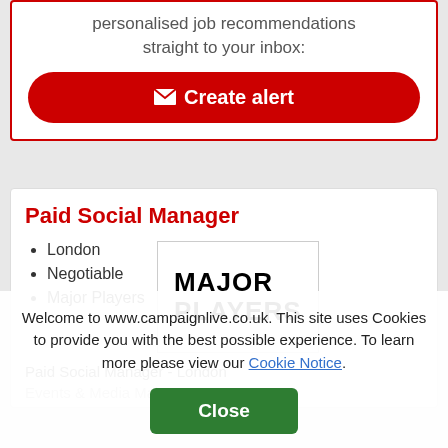personalised job recommendations straight to your inbox:
✉ Create alert
Paid Social Manager
London
Negotiable
Major Players
[Figure (logo): Major Players company logo in bold black text]
Paid Social Manager - London
Events & Media Major
Welcome to www.campaignlive.co.uk. This site uses Cookies to provide you with the best possible experience. To learn more please view our Cookie Notice.
Close